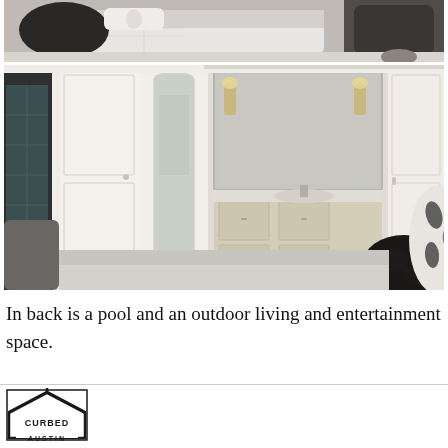[Figure (photo): Bedroom interior with decorative pillows, a white bed with grey quilted bedding, and dark upholstered chairs/furniture in the corners]
[Figure (photo): Master bedroom with built-in white wardrobes/closets, a tall arched mirror, glimpse of bathroom with vanity and wall sconces reflected in large mirror, and black fluffy decorative pillow in foreground]
In back is a pool and an outdoor living and entertainment space.
[Figure (logo): Curbed Austin logo — a house outline shape with the word CURBED inside and AUSTIN below]